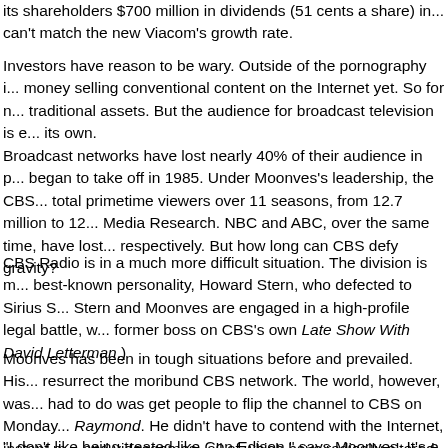its shareholders $700 million in dividends (51 cents a share) in... can't match the new Viacom's growth rate.
Investors have reason to be wary. Outside of the pornography i... money selling conventional content on the Internet yet. So for n... traditional assets. But the audience for broadcast television is e... its own.
Broadcast networks have lost nearly 40% of their audience in p... began to take off in 1985. Under Moonves's leadership, the CBS... total primetime viewers over 11 seasons, from 12.7 million to 12... Media Research. NBC and ABC, over the same time, have lost... respectively. But how long can CBS defy gravity?
CBS Radio is in a much more difficult situation. The division is m... best-known personality, Howard Stern, who defected to Sirius S... Stern and Moonves are engaged in a high-profile legal battle, w... former boss on CBS's own Late Show With David Letterman.)
Moonves has been in tough situations before and prevailed. His... resurrect the moribund CBS network. The world, however, was... had to do was get people to flip the channel to CBS on Monday... Raymond. He didn't have to contend with the Internet, instant m... and videogames--all of which have radically altered the rules of
"I don't like being treated like Con Edison," says Moonves. It's e